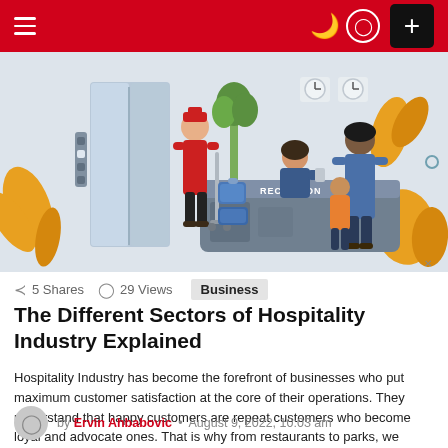≡  [dark mode] [user] [+]
[Figure (illustration): Hotel reception illustration showing a bellboy with luggage cart, a receptionist behind a counter labeled RECEPTION, and a family (adult and child) checking in. Background shows elevator doors, plants, orange decorative leaves, and wall clocks.]
5 Shares  29 Views  Business
The Different Sectors of Hospitality Industry Explained
Hospitality Industry has become the forefront of businesses who put maximum customer satisfaction at the core of their operations. They understand that happy customers are repeat customers who become loyal and advocate ones. That is why from restaurants to parks, we experience hospitality everyday. Many businesses rely on meeting these needs and it's not surprising [...] MORE
by Ervin Ahbabovic • August 9, 2022, 10:03 am